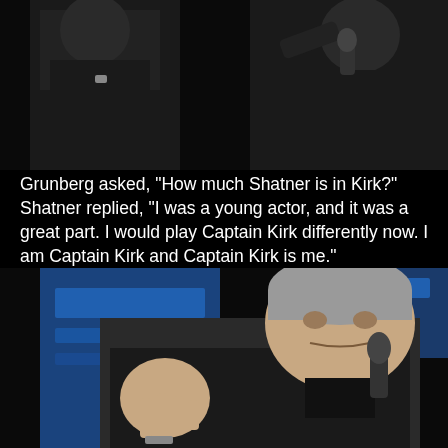[Figure (photo): Two men in dark clothing at an event, one holding a microphone, photographed from chest level up against a dark background.]
Grunberg asked, "How much Shatner is in Kirk?" Shatner replied, "I was a young actor, and it was a great part. I would play Captain Kirk differently now. I am Captain Kirk and Captain Kirk is me."
[Figure (photo): An older man with grey hair wearing a black leather jacket holding a microphone and gesturing with his hand, speaking at an event with a blue illuminated backdrop.]